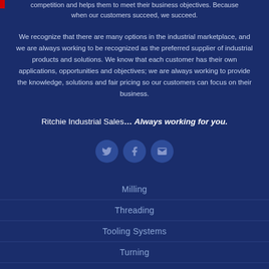competition and helps them to meet their business objectives. Because when our customers succeed, we succeed.
We recognize that there are many options in the industrial marketplace, and we are always working to be recognized as the preferred supplier of industrial products and solutions. We know that each customer has their own applications, opportunities and objectives; we are always working to provide the knowledge, solutions and fair pricing so our customers can focus on their business.
Ritchie Industrial Sales… Always working for you.
[Figure (illustration): Three circular social media icon buttons: Twitter bird icon, Facebook f icon, and Email envelope icon, displayed in a horizontal row on dark blue background.]
Milling
Threading
Tooling Systems
Turning